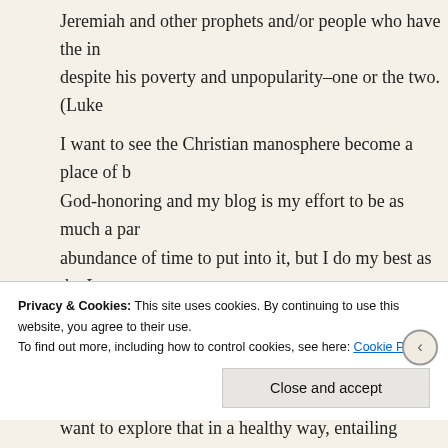Jeremiah and other prophets and/or people who have the int... despite his poverty and unpopularity–one or the two. (Luke...
I want to see the Christian manosphere become a place of b... God-honoring and my blog is my effort to be as much a par... abundance of time to put into it, but I do my best as the Lor... issues concerning women's sins against men (especially) ar... open for the Devil to do harm to men just as Scripture show... want to explore that in a healthy way, entailing justice and r... brotherhood.
Hey, it's my latest catch-phrase: Christian men are called to... average modern woman, right? 😉 But we definitely need t...
Privacy & Cookies: This site uses cookies. By continuing to use this website, you agree to their use.
To find out more, including how to control cookies, see here: Cookie Policy